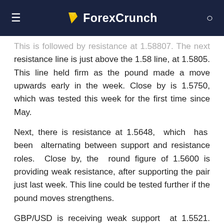ForexCrunch
This is followed by resistance at 1.58807. The next resistance line is just above the 1.58 line, at 1.5805. This line held firm as the pound made a move upwards early in the week. Close by is 1.5750, which was tested this week for the first time since May.
Next, there is resistance at 1.5648, which has been alternating between support and resistance roles. Close by, the round figure of 1.5600 is providing weak resistance, after supporting the pair just last week. This line could be tested further if the pound moves strengthens.
GBP/USD is receiving weak support at 1.5521. Next, there is stronger support at 1.5415. Below, there is support at 1.5361, a line which has held firm since early June. Close by, there is support at 1.5309. This line has not been breached since September 2010. This is followed